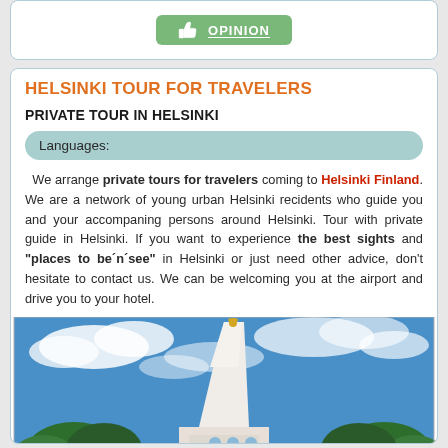[Figure (other): Green opinion button with thumbs-up icon]
HELSINKI TOUR FOR TRAVELERS
PRIVATE TOUR IN HELSINKI
Languages:
We arrange private tours for travelers coming to Helsinki Finland. We are a network of young urban Helsinki recidents who guide you and your accompaning persons around Helsinki. Tour with private guide in Helsinki. If you want to experience the best sights and "places to be´n´see" in Helsinki or just need other advice, don't hesitate to contact us. We can be welcoming you at the airport and drive you to your hotel.
[Figure (photo): Photo of a white church steeple with golden figure on top against a blue sky with clouds and trees below]